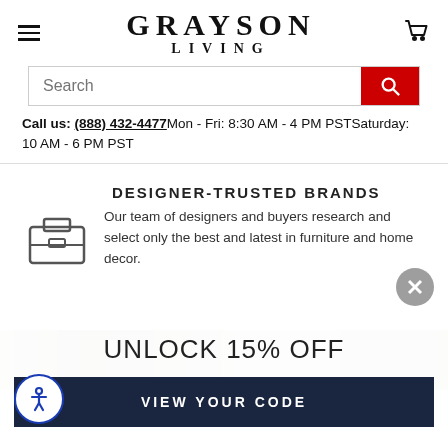[Figure (logo): Grayson Living logo with hamburger menu and cart icon in header]
Search
Call us: (888) 432-4477 Mon - Fri: 8:30 AM - 4 PM PST Saturday: 10 AM - 6 PM PST
DESIGNER-TRUSTED BRANDS
Our team of designers and buyers research and select only the best and latest in furniture and home decor.
UNLOCK 15% OFF
VIEW YOUR CODE